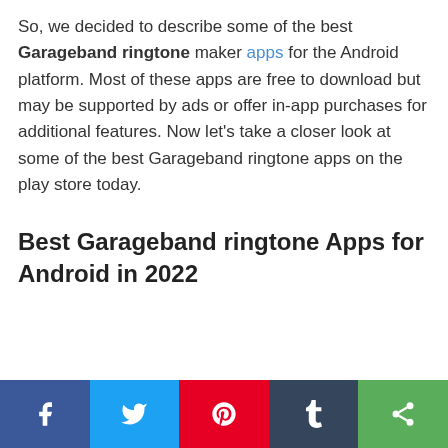So, we decided to describe some of the best Garageband ringtone maker apps for the Android platform. Most of these apps are free to download but may be supported by ads or offer in-app purchases for additional features. Now let's take a closer look at some of the best Garageband ringtone apps on the play store today.
Best Garageband ringtone Apps for Android in 2022